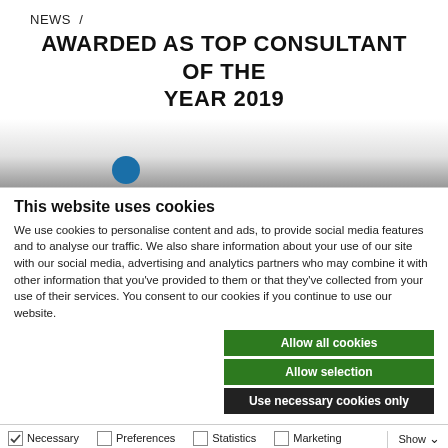NEWS /
AWARDED AS TOP CONSULTANT OF THE YEAR 2019
[Figure (photo): Partial image area with blue circle visible, appears to be a photo of an award or event, cropped]
This website uses cookies
We use cookies to personalise content and ads, to provide social media features and to analyse our traffic. We also share information about your use of our site with our social media, advertising and analytics partners who may combine it with other information that you've provided to them or that they've collected from your use of their services. You consent to our cookies if you continue to use our website.
Allow all cookies
Allow selection
Use necessary cookies only
Necessary  Preferences  Statistics  Marketing  Show details